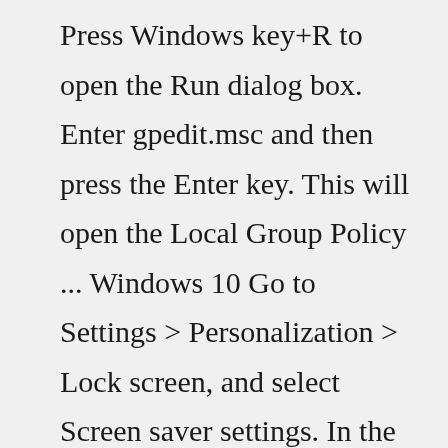Press Windows key+R to open the Run dialog box. Enter gpedit.msc and then press the Enter key. This will open the Local Group Policy ... Windows 10 Go to Settings > Personalization > Lock screen, and select Screen saver settings. In the Screen Saver Settings window, choose a screen saver from the drop-down list. Change your screen saver settings SUBSCRIBE RSS FEEDS Need more help? Expand your skills Explore Training Get new features